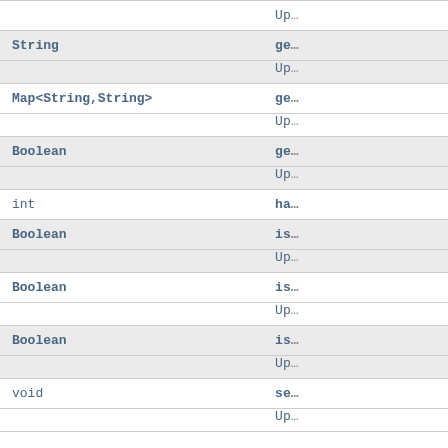| Type | Method |
| --- | --- |
|  | Up... |
| String | ge... |
|  | Up... |
| Map<String,String> | ge... |
|  | Up... |
| Boolean | ge... |
|  | Up... |
| int | ha... |
| Boolean | is... |
|  | Up... |
| Boolean | is... |
|  | Up... |
| Boolean | is... |
|  | Up... |
| void | se... |
|  | Up... |